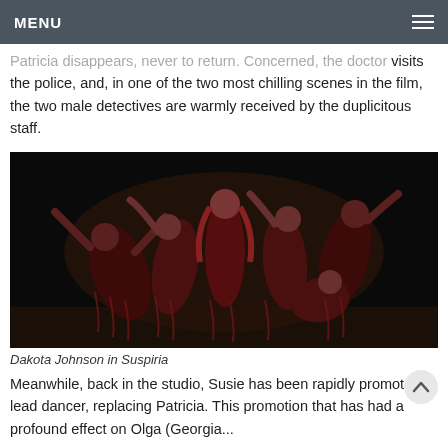MENU
Patricia disappears, never to return. Concerned, the doctor visits the police, and, in one of the two most chilling scenes in the film, the two male detectives are warmly received by the duplicitous staff.
[Figure (photo): Group of female dancers in dark red/blood-stained costumes performing dramatic poses on a dimly lit stage — a still from the film Suspiria featuring Dakota Johnson.]
Dakota Johnson in Suspiria
Meanwhile, back in the studio, Susie has been rapidly promoted to lead dancer, replacing Patricia. This promotion that has had a profound effect on Olga (Georgia...